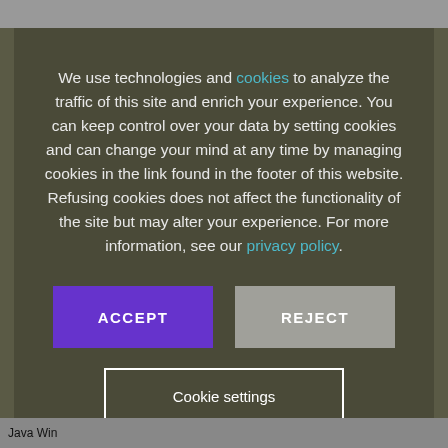We use technologies and cookies to analyze the traffic of this site and enrich your experience. You can keep control over your data by setting cookies and can change your mind at any time by managing cookies in the link found in the footer of this website. Refusing cookies does not affect the functionality of the site but may alter your experience. For more information, see our privacy policy.
ACCEPT
REJECT
Cookie settings